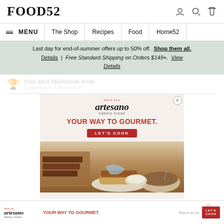FOOD52
MENU | The Shop | Recipes | Food | Home52
Last day for end-of-summer offers up to 50% off. Shop them all. Details | Free Standard Shipping on Orders $149+. View Details
Your Best Mushroom Soup
CONTEST FINALIST
[Figure (photo): Sara Lee Artesano bakery bread advertisement. Text reads: YOUR WAY TO GOURMET. with a LET'S COOK button. Food photo showing bread, bowl of soup, and sandwich below.]
[Figure (photo): Bottom banner ad for Sara Lee Artesano bakery bread. YOUR WAY TO GOURMET. LET'S COOK button. Report an ad link.]